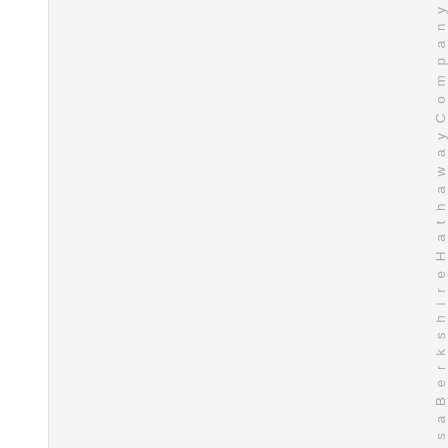s i s a B e r k s h i r e H a t h a w a y C o m p a n y